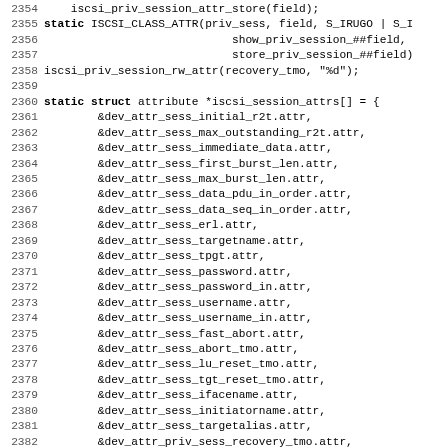[Figure (screenshot): Source code listing showing lines 2354-2386 of a C file, displaying iSCSI session attribute definitions including ISCSI_CLASS_ATTR macro calls and static struct attribute array iscsi_session_attrs[]]